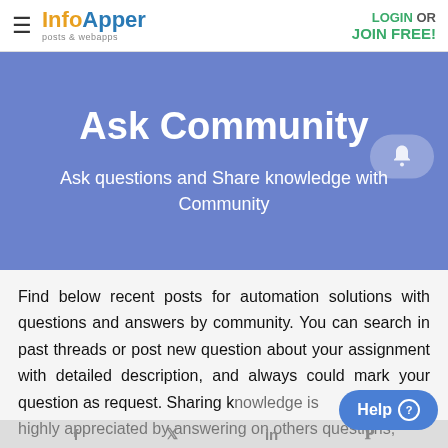InfoApper posts & webapps | LOGIN OR JOIN FREE!
[Figure (screenshot): Blue banner with 'Ask Community' title and subtitle 'Ask questions and Share knowledge with Community', with a semi-transparent bell/notification button on the right]
Find below recent posts for automation solutions with questions and answers by community. You can search in past threads or post new question about your assignment with detailed description, and always could mark your question as request. Sharing knowledge is highly appreciated by answering on others questions,